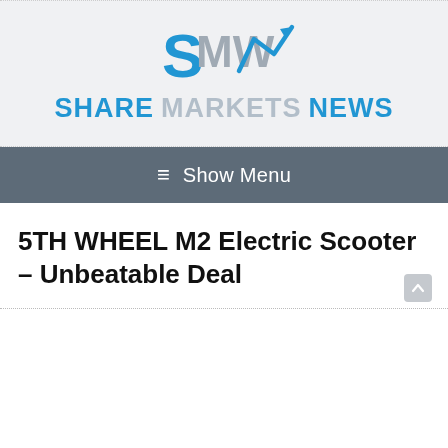[Figure (logo): Share Markets News logo with stylized SMW chart icon above the text 'SHARE MARKETS NEWS']
≡ Show Menu
5TH WHEEL M2 Electric Scooter – Unbeatable Deal